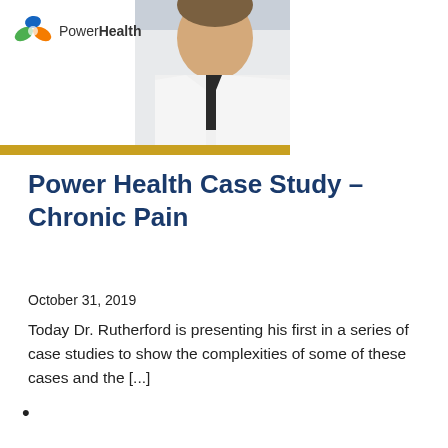[Figure (photo): Banner image showing PowerHealth logo on the left and a doctor in a white coat on the right, with a gold/yellow bar at the bottom of the banner.]
Power Health Case Study – Chronic Pain
October 31, 2019
Today Dr. Rutherford is presenting his first in a series of case studies to show the complexities of some of these cases and the [...]